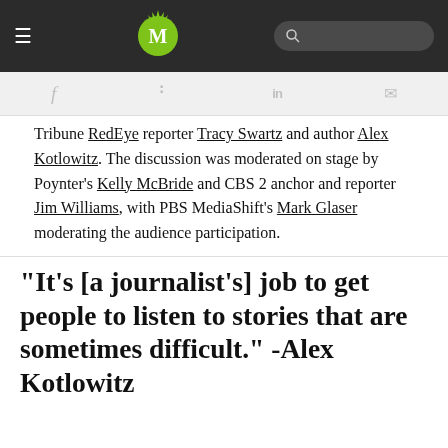MediaShift navigation bar with logo and search
Tribune RedEye reporter Tracy Swartz and author Alex Kotlowitz. The discussion was moderated on stage by Poynter's Kelly McBride and CBS 2 anchor and reporter Jim Williams, with PBS MediaShift's Mark Glaser moderating the audience participation.
"It's [a journalist's] job to get people to listen to stories that are sometimes difficult." -Alex Kotlowitz